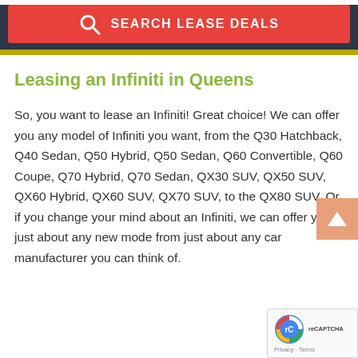SEARCH LEASE DEALS
Leasing an Infiniti in Queens
So, you want to lease an Infiniti! Great choice! We can offer you any model of Infiniti you want, from the Q30 Hatchback, Q40 Sedan, Q50 Hybrid, Q50 Sedan, Q60 Convertible, Q60 Coupe, Q70 Hybrid, Q70 Sedan, QX30 SUV, QX50 SUV, QX60 Hybrid, QX60 SUV, QX70 SUV, to the QX80 SUV. Or, if you change your mind about an Infiniti, we can offer you just about any new model from just about any car manufacturer you can think of.